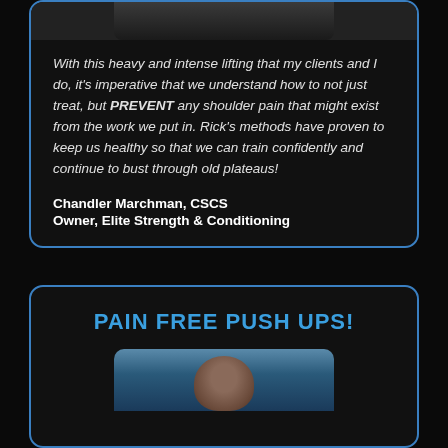With this heavy and intense lifting that my clients and I do, it's imperative that we understand how to not just treat, but PREVENT any shoulder pain that might exist from the work we put in. Rick's methods have proven to keep us healthy so that we can train confidently and continue to bust through old plateaus!
Chandler Marchman, CSCS
Owner, Elite Strength & Conditioning
PAIN FREE PUSH UPS!
[Figure (photo): Partial photo of a person, bottom portion visible at top of first card]
[Figure (photo): Partial photo of a person's head at bottom of second card]